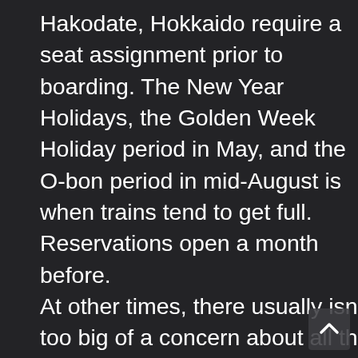Hakodate, Hokkaido require a seat assignment prior to boarding. The New Year Holidays, the Golden Week Holiday period in May, and the O-bon period in mid-August is when trains tend to get full. Reservations open a month before. At other times, there usually isn't too big of a concern about all the seats selling out. If you are traveling along the main route between Tokyo and Kyoto/Shin-Osaka, services are so frequent to the point where there are departures every 10 minutes during the peak hours. Most locals just get a ticket from the automated ticket machines (English option available) when they arrive at the station. While the machines accept credit cards, I have noticed that international credit cards get rejected at a very high rate. In that case, you'll have to line up at the ticket office which can take a few minutes. Like in many other places in Japan, it probably is a good idea to be carrying around